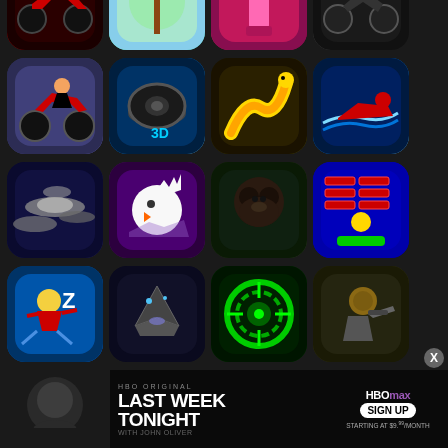[Figure (screenshot): Grid of mobile app icons on a dark background, showing games and entertainment apps including motorcycle games, racing games, UFO games, bird games, gorilla games, puzzle games, and others. Bottom shows an HBO Max advertisement banner with 'LAST WEEK TONIGHT WITH JOHN OLIVER' text and 'SIGN UP STARTING AT $9.99/MONTH'.]